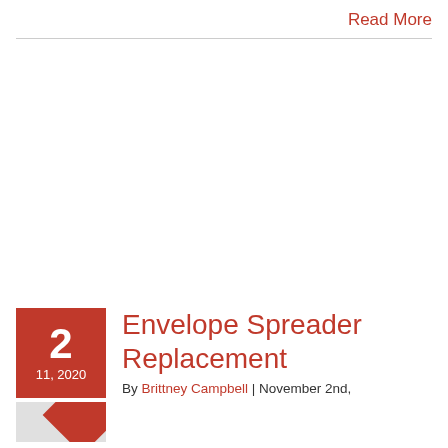Read More
Envelope Spreader Replacement
By Brittney Campbell | November 2nd,